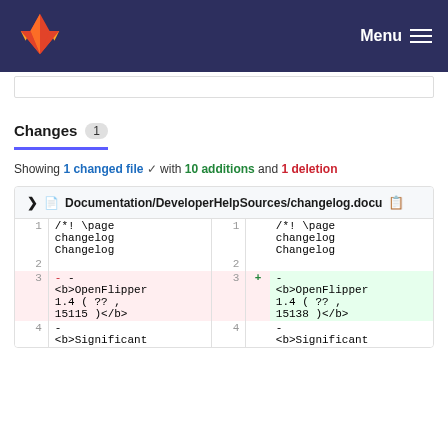GitLab — Menu
Changes 1
Showing 1 changed file with 10 additions and 1 deletion
| # | old | sign | # | sign | new |
| --- | --- | --- | --- | --- | --- |
| 1 | /*! \page changelog Changelog |  | 1 |  | /*! \page changelog Changelog |
| 2 |  |  | 2 |  |  |
| 3 | - - <b>OpenFlipper 1.4 ( ?? , 15115 )</b> | - | 3 | + | - <b>OpenFlipper 1.4 ( ?? , 15138 )</b> |
| 4 | - |  | 4 |  | - |